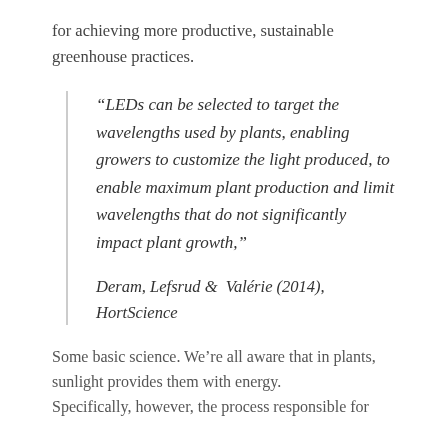for achieving more productive, sustainable greenhouse practices.
“LEDs can be selected to target the wavelengths used by plants, enabling growers to customize the light produced, to enable maximum plant production and limit wavelengths that do not significantly impact plant growth,”

Deram, Lefsrud &  Valérie (2014), HortScience
Some basic science. We’re all aware that in plants, sunlight provides them with energy. Specifically, however, the process responsible for